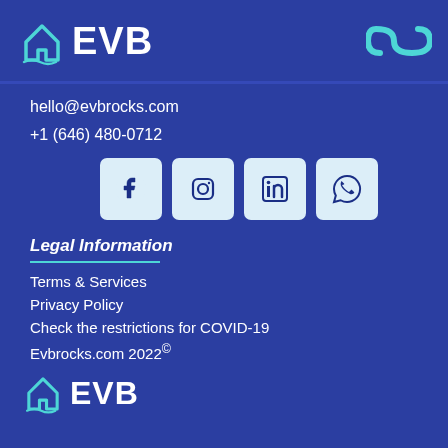EVB logo and top navigation
hello@evbrocks.com
+1 (646) 480-0712
[Figure (other): Four social media icons: Facebook, Instagram, LinkedIn, WhatsApp]
Legal Information
Terms & Services
Privacy Policy
Check the restrictions for COVID-19
Evbrocks.com 2022©
[Figure (logo): EVB logo at bottom of page]